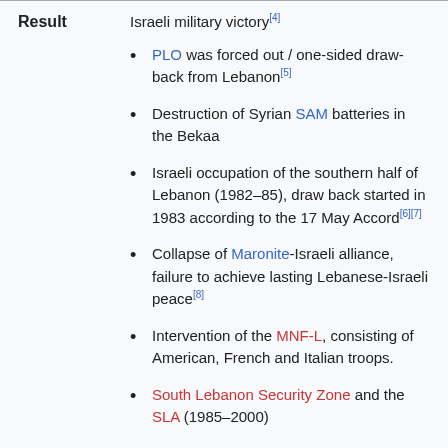Result
Israeli military victory[4]
PLO was forced out / one-sided draw-back from Lebanon[5]
Destruction of Syrian SAM batteries in the Bekaa
Israeli occupation of the southern half of Lebanon (1982–85), draw back started in 1983 according to the 17 May Accord[6][7]
Collapse of Maronite-Israeli alliance, failure to achieve lasting Lebanese-Israeli peace[8]
Intervention of the MNF-L, consisting of American, French and Italian troops.
South Lebanon Security Zone and the SLA (1985–2000)